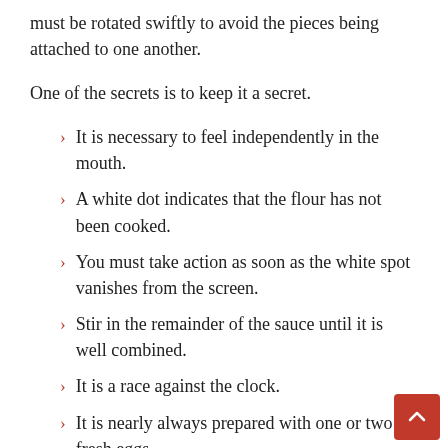must be rotated swiftly to avoid the pieces being attached to one another.
One of the secrets is to keep it a secret.
It is necessary to feel independently in the mouth.
A white dot indicates that the flour has not been cooked.
You must take action as soon as the white spot vanishes from the screen.
Stir in the remainder of the sauce until it is well combined.
It is a race against the clock.
It is nearly always prepared with one or two fresh eggs.